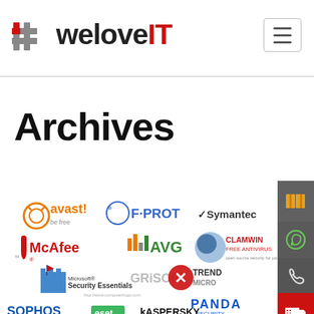[Figure (logo): weloveIT website header logo with hashtag symbol and red IT text]
Archives
[Figure (illustration): Collection of antivirus software logos: avast!, F-PROT, Symantec, AVG, ClamWin Free Antivirus, McAfee, Grisoft, Trend Micro, Microsoft Security Essentials, Panda Security, Sophos, ESET, Kaspersky]
[Figure (infographic): Right sidebar with dark grey background showing book, WhatsApp, phone, and ambulance truck icons]